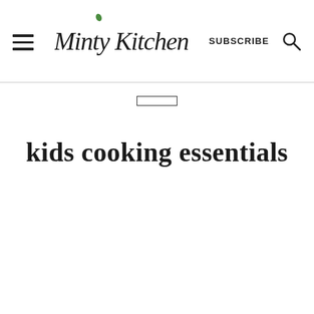Minty Kitchen | SUBSCRIBE
kids cooking essentials